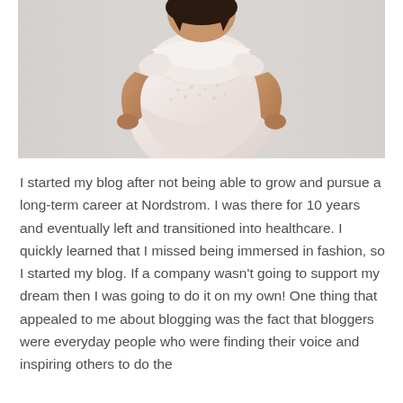[Figure (photo): A woman wearing a white/pink lace cap-sleeve dress, standing with hands on hips against a light grey background. Photo is cropped to show from neck/shoulders down to mid-thigh.]
I started my blog after not being able to grow and pursue a long-term career at Nordstrom. I was there for 10 years and eventually left and transitioned into healthcare. I quickly learned that I missed being immersed in fashion, so I started my blog. If a company wasn't going to support my dream then I was going to do it on my own! One thing that appealed to me about blogging was the fact that bloggers were everyday people who were finding their voice and inspiring others to do the same. I also liked that it was a creative outlet...